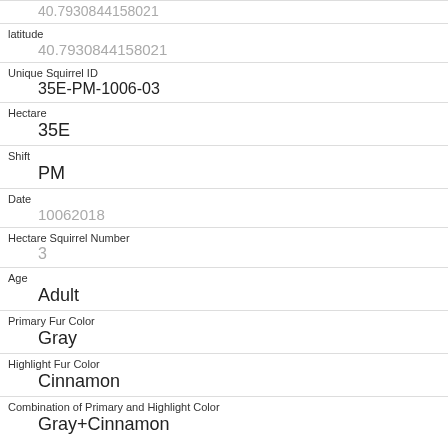| Field | Value |
| --- | --- |
| latitude | 40.7930844158021 |
| Unique Squirrel ID | 35E-PM-1006-03 |
| Hectare | 35E |
| Shift | PM |
| Date | 10062018 |
| Hectare Squirrel Number | 3 |
| Age | Adult |
| Primary Fur Color | Gray |
| Highlight Fur Color | Cinnamon |
| Combination of Primary and Highlight Color | Gray+Cinnamon |